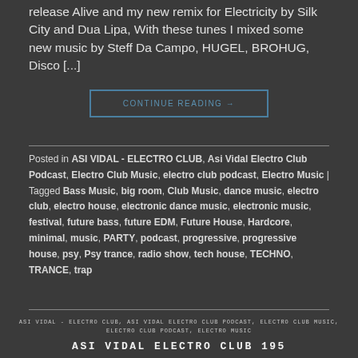release Alive and my new remix for Electricity by Silk City and Dua Lipa, With these tunes I mixed some new music by Steff Da Campo, HUGEL, BROHUG, Disco [...]
CONTINUE READING →
Posted in ASI VIDAL - ELECTRO CLUB, Asi Vidal Electro Club Podcast, Electro Club Music, electro club podcast, Electro Music | Tagged Bass Music, big room, Club Music, dance music, electro club, electro house, electronic dance music, electronic music, festival, future bass, future EDM, Future House, Hardcore, minimal, music, PARTY, podcast, progressive, progressive house, psy, Psy trance, radio show, tech house, TECHNO, TRANCE, trap
ASI VIDAL - ELECTRO CLUB, ASI VIDAL ELECTRO CLUB PODCAST, ELECTRO CLUB MUSIC, ELECTRO CLUB PODCAST, ELECTRO MUSIC
ASI VIDAL ELECTRO CLUB 195